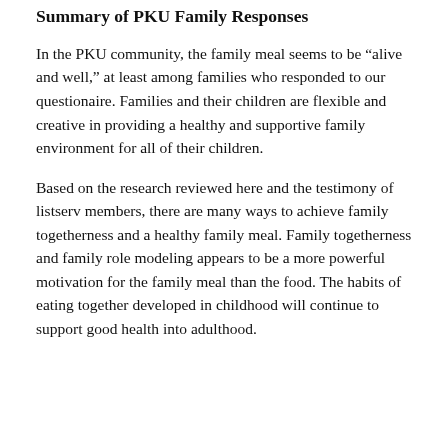Summary of PKU Family Responses
In the PKU community, the family meal seems to be “alive and well,” at least among families who responded to our questionaire. Families and their children are flexible and creative in providing a healthy and supportive family environment for all of their children.
Based on the research reviewed here and the testimony of listserv members, there are many ways to achieve family togetherness and a healthy family meal. Family togetherness and family role modeling appears to be a more powerful motivation for the family meal than the food. The habits of eating together developed in childhood will continue to support good health into adulthood.